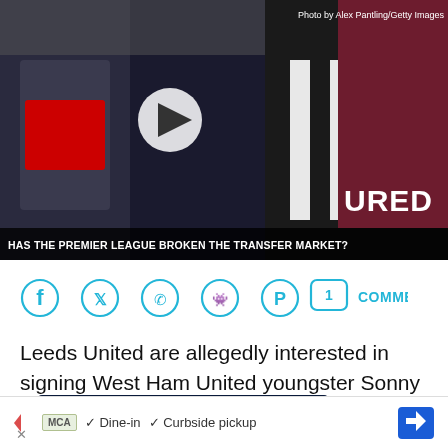[Figure (screenshot): Video thumbnail showing football players holding jerseys, with play button overlay. Text reads 'Has The Premier League Broken The Transfer Market?']
Photo by Alex Pantling/Getty Images
TURED
[Figure (infographic): Social sharing icons: Facebook, Twitter, WhatsApp, Reddit, Pinterest, and a comment button showing 1 COMMENTS]
Leeds United are allegedly interested in signing West Ham United youngster Sonny Perkins in the summer transfer window.
[Figure (screenshot): Advertisement showing 'Discover,' text on dark space background]
[Figure (screenshot): Bottom ad banner with McAlisters Deli logo, Dine-in and Curbside pickup options]